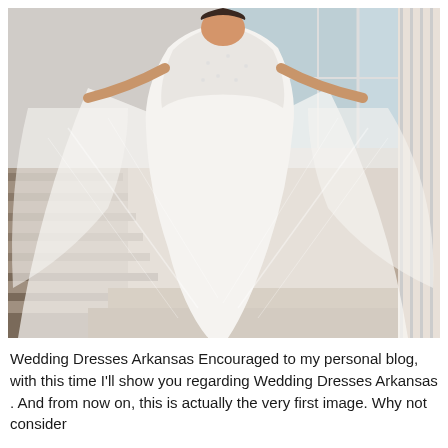[Figure (photo): A woman wearing a flowing white wedding dress with lace bodice, holding out the sheer tulle skirt/train with both arms extended. She is standing near stairs in an indoor/outdoor setting with large windows and wooden flooring visible.]
Wedding Dresses Arkansas Encouraged to my personal blog, with this time I'll show you regarding Wedding Dresses Arkansas . And from now on, this is actually the very first image. Why not consider